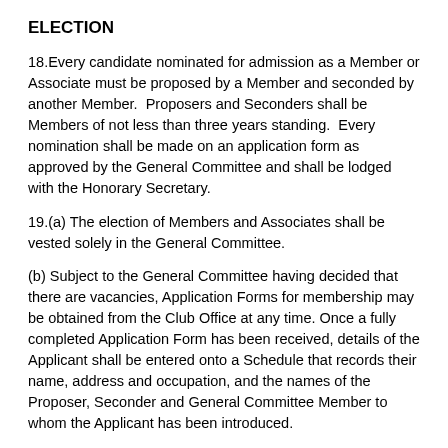ELECTION
18.Every candidate nominated for admission as a Member or Associate must be proposed by a Member and seconded by another Member.  Proposers and Seconders shall be Members of not less than three years standing.  Every nomination shall be made on an application form as approved by the General Committee and shall be lodged with the Honorary Secretary.
19.(a) The election of Members and Associates shall be vested solely in the General Committee.
(b) Subject to the General Committee having decided that there are vacancies, Application Forms for membership may be obtained from the Club Office at any time. Once a fully completed Application Form has been received, details of the Applicant shall be entered onto a Schedule that records their name, address and occupation, and the names of the Proposer, Seconder and General Committee Member to whom the Applicant has been introduced.
(c) In advance of each monthly meeting of the General Committee but no more than five working days beforehand, copies of the Schedule shall be sent to all members of the General Committee. At the same time, copies of the Schedule and copies of the associated Application Forms shall also be sent to all members of the Membership Sub-Committee. By attachment to the agenda at any monthly meeting, details of